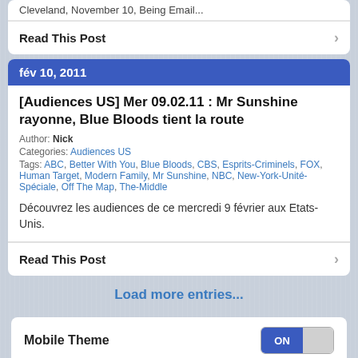Cleveland, November 10, Being Email...
Read This Post
fév 10, 2011
[Audiences US] Mer 09.02.11 : Mr Sunshine rayonne, Blue Bloods tient la route
Author: Nick
Categories: Audiences US
Tags: ABC, Better With You, Blue Bloods, CBS, Esprits-Criminels, FOX, Human Target, Modern Family, Mr Sunshine, NBC, New-York-Unité-Spéciale, Off The Map, The-Middle
Découvrez les audiences de ce mercredi 9 février aux Etats-Unis.
Read This Post
Load more entries...
Mobile Theme ON
All content Copyright © TV Chronik
Powered by WordPress 2.7 + WPtouch 1.9.5